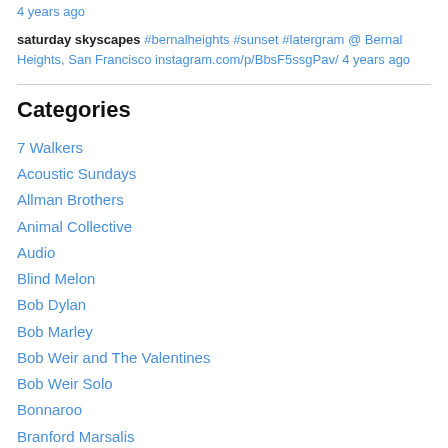4 years ago
saturday skyscapes #bernalheights #sunset #latergram @ Bernal Heights, San Francisco instagram.com/p/BbsF5ssgPav/ 4 years ago
Categories
7 Walkers
Acoustic Sundays
Allman Brothers
Animal Collective
Audio
Blind Melon
Bob Dylan
Bob Marley
Bob Weir and The Valentines
Bob Weir Solo
Bonnaroo
Branford Marsalis